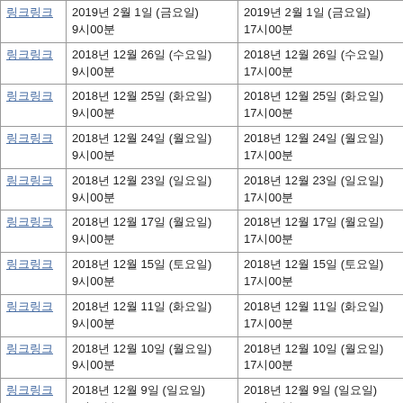| 링크 | 시작일시 | 종료일시 | 링크 |
| --- | --- | --- | --- |
| 링크링크 | 2019년 2월 1일 (금요일)
9시00분 | 2019년 2월 1일 (금요일)
17시00분 | 링링 |
| 링크링크 | 2018년 12월 26일 (수요일)
9시00분 | 2018년 12월 26일 (수요일)
17시00분 | 링링 |
| 링크링크 | 2018년 12월 25일 (화요일)
9시00분 | 2018년 12월 25일 (화요일)
17시00분 | 링링 |
| 링크링크 | 2018년 12월 24일 (월요일)
9시00분 | 2018년 12월 24일 (월요일)
17시00분 | 링링 |
| 링크링크 | 2018년 12월 23일 (일요일)
9시00분 | 2018년 12월 23일 (일요일)
17시00분 | 링링 |
| 링크링크 | 2018년 12월 17일 (월요일)
9시00분 | 2018년 12월 17일 (월요일)
17시00분 | 링링 |
| 링크링크 | 2018년 12월 15일 (토요일)
9시00분 | 2018년 12월 15일 (토요일)
17시00분 | 링링 |
| 링크링크 | 2018년 12월 11일 (화요일)
9시00분 | 2018년 12월 11일 (화요일)
17시00분 | 링링 |
| 링크링크 | 2018년 12월 10일 (월요일)
9시00분 | 2018년 12월 10일 (월요일)
17시00분 | 링링 |
| 링크링크 | 2018년 12월 9일 (일요일)
9시00분 | 2018년 12월 9일 (일요일)
17시00분 | 링링 |
| 링크링크 | 2018년 12월 6일 (목요일) | 2018년 12월 6일 (목요일) | 링링 |